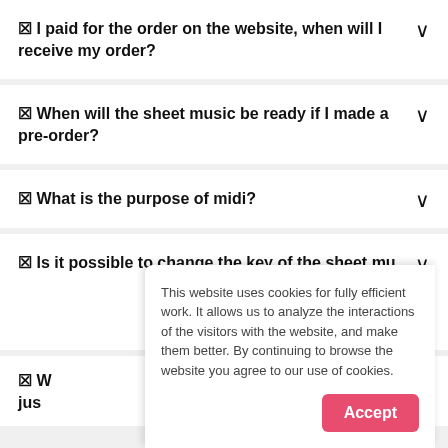❓ I paid for the order on the website, when will I receive my order?
❓ When will the sheet music be ready if I made a pre-order?
❓ What is the purpose of midi?
❓ Is it possible to change the key of the sheet mu...
❓ W... just...
This website uses cookies for fully efficient work. It allows us to analyze the interactions of the visitors with the website, and make them better. By continuing to browse the website you agree to our use of cookies.
Accept